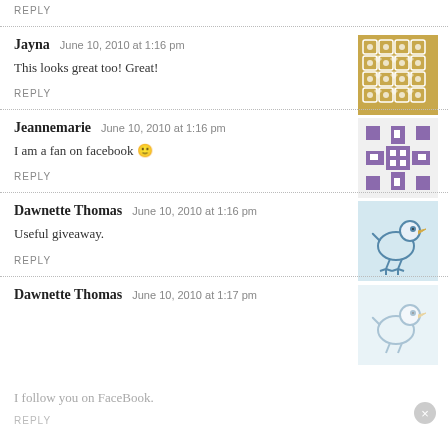REPLY
Jayna   June 10, 2010 at 1:16 pm
This looks great too! Great!
REPLY
[Figure (illustration): Golden/brown geometric tile pattern avatar for Jayna]
Jeannemarie   June 10, 2010 at 1:16 pm
I am a fan on facebook 🙂
REPLY
[Figure (illustration): Purple geometric snowflake/cross pattern avatar for Jeannemarie]
Dawnette Thomas   June 10, 2010 at 1:16 pm
Useful giveaway.
REPLY
[Figure (illustration): Hand-drawn bird avatar for Dawnette Thomas]
Dawnette Thomas   June 10, 2010 at 1:17 pm
I follow you on FaceBook.
REPLY